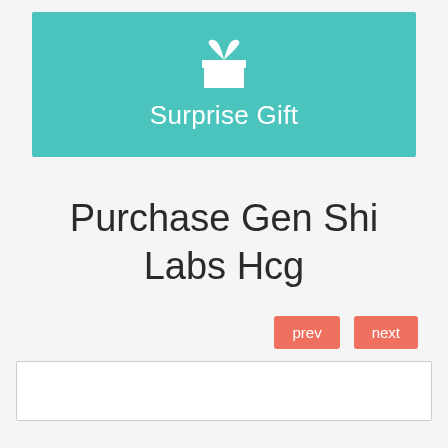[Figure (illustration): Teal/turquoise banner with a white gift box icon and the text 'Surprise Gift' below it in white]
Purchase Gen Shi Labs Hcg
prev   next